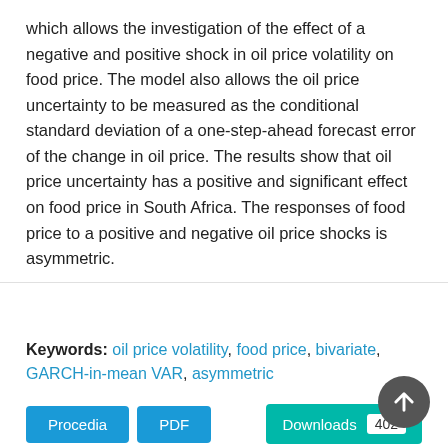which allows the investigation of the effect of a negative and positive shock in oil price volatility on food price. The model also allows the oil price uncertainty to be measured as the conditional standard deviation of a one-step-ahead forecast error of the change in oil price. The results show that oil price uncertainty has a positive and significant effect on food price in South Africa. The responses of food price to a positive and negative oil price shocks is asymmetric.
Keywords: oil price volatility, food price, bivariate, GARCH-in-mean VAR, asymmetric
Procedia | PDF | Downloads 402
919 A Theory and Empirical Analysis on the Efficency of Chinese Electricity Pricing